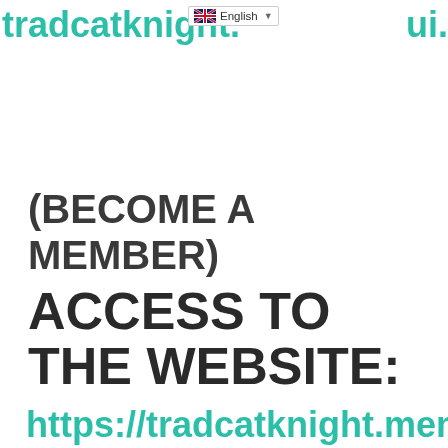tradcatknight.  ui.
(BECOME A MEMBER) ACCESS TO THE WEBSITE:
https://tradcatknight.mem